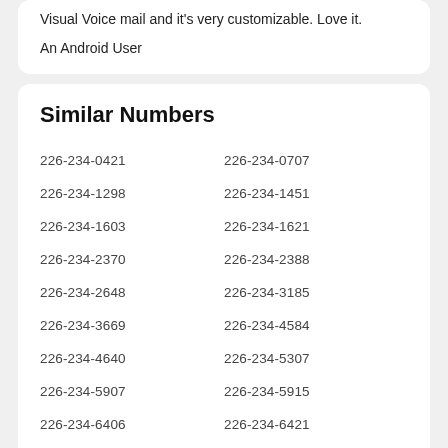Visual Voice mail and it's very customizable. Love it.
An Android User
Similar Numbers
226-234-0421
226-234-0707
226-234-1298
226-234-1451
226-234-1603
226-234-1621
226-234-2370
226-234-2388
226-234-2648
226-234-3185
226-234-3669
226-234-4584
226-234-4640
226-234-5307
226-234-5907
226-234-5915
226-234-6406
226-234-6421
226-234-6790
226-234-6798